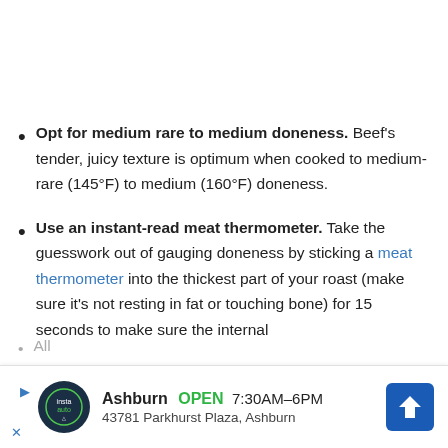Opt for medium rare to medium doneness. Beef's tender, juicy texture is optimum when cooked to medium-rare (145°F) to medium (160°F) doneness.
Use an instant-read meat thermometer. Take the guesswork out of gauging doneness by sticking a meat thermometer into the thickest part of your roast (make sure it's not resting in fat or touching bone) for 15 seconds to make sure the internal
All...
[Figure (infographic): Ad banner: Ashburn OPEN 7:30AM-6PM, 43781 Parkhurst Plaza, Ashburn. Shows a logo with a car icon, navigation arrow icon, play and close buttons.]